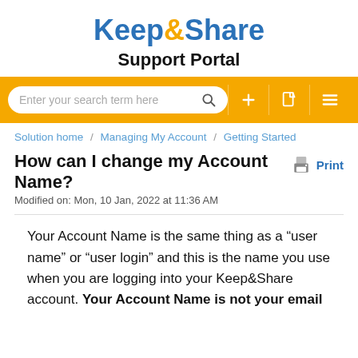Keep&Share
Support Portal
[Figure (screenshot): Orange search bar with rounded search input field reading 'Enter your search term here', a search icon, and three icon buttons (plus, document, hamburger menu) separated by dividers]
Solution home / Managing My Account / Getting Started
How can I change my Account Name?
Modified on: Mon, 10 Jan, 2022 at 11:36 AM
Your Account Name is the same thing as a “user name” or “user login” and this is the name you use when you are logging into your Keep&Share account. Your Account Name is not your email